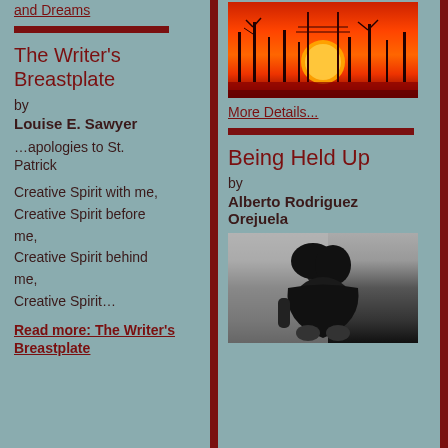and Dreams
The Writer's Breastplate
by
Louise E. Sawyer
…apologies to St. Patrick
Creative Spirit with me,
Creative Spirit before me,
Creative Spirit behind me,
Creative Spirit…
Read more: The Writer's Breastplate
[Figure (photo): Sunset photo with red/orange sky, dark tree silhouettes and a large sun]
More Details...
Being Held Up
by
Alberto Rodriguez Orejuela
[Figure (photo): Black and white portrait photo of a person with long dark hair, sitting against a wall, wrapped in dark clothing]